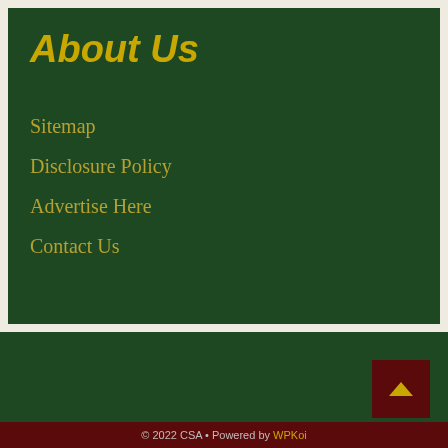About Us
Sitemap
Disclosure Policy
Advertise Here
Contact Us
© 2022 CSA • Powered by WPKoi